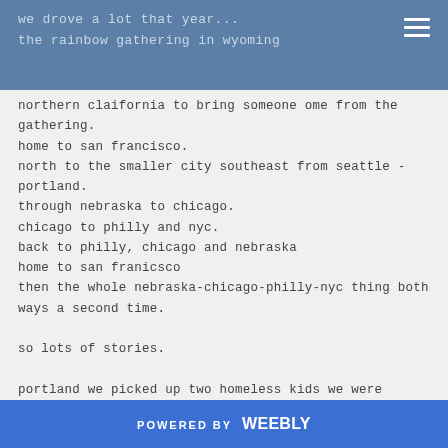we drove a lot that year...
the rainbow gathering in wyoming
northern claifornia to bring someone ome from the gathering.
home to san francisco.
north to the smaller city southeast from seattle - portland.
through nebraska to chicago.
chicago to philly and nyc.
back to philly, chicago and nebraska
home to san franicsco
then the whole nebraska-chicago-philly-nyc thing both ways a second time.

so lots of stories.

portland we picked up two homeless kids we were supporting because we ran out of money.
we intended to drive them home to maine.
they delayted us so long in nebraska we abandonded them there with their some close friends.
POWERED BY weebly